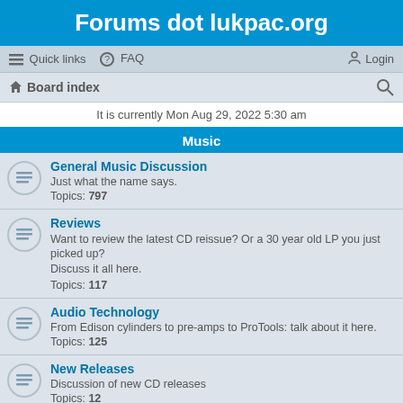Forums dot lukpac.org
Quick links   FAQ   Login
Board index
It is currently Mon Aug 29, 2022 5:30 am
Music
General Music Discussion
Just what the name says.
Topics: 797
Reviews
Want to review the latest CD reissue? Or a 30 year old LP you just picked up? Discuss it all here.
Topics: 117
Audio Technology
From Edison cylinders to pre-amps to ProTools: talk about it here.
Topics: 125
New Releases
Discussion of new CD releases
Topics: 12
Reissues
Discussion of CD reissues, including sound quality and track lists
Topics: 26
Collector's Corner
Discussion of CD singles, imports and other rare discs
Topics: 3